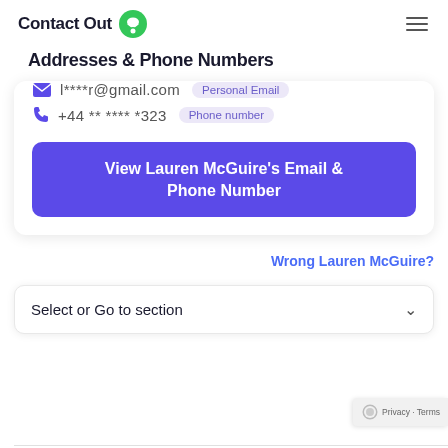ContactOut
Addresses & Phone Numbers
l****r@gmail.com  Personal Email
+44 ** **** *323  Phone number
View Lauren McGuire's Email & Phone Number
Wrong Lauren McGuire?
Select or Go to section